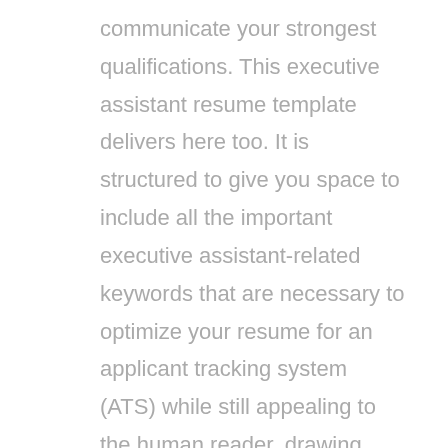communicate your strongest qualifications. This executive assistant resume template delivers here too. It is structured to give you space to include all the important executive assistant-related keywords that are necessary to optimize your resume for an applicant tracking system (ATS) while still appealing to the human reader, drawing their eyes to the most important points.
While the Promotable resume template includes graphics, they